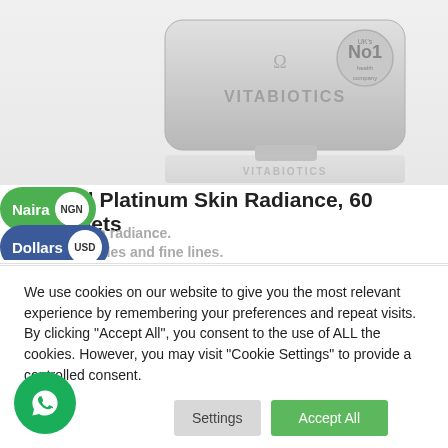[Figure (photo): Vitabiotics silver tablet/pill box with UK No1 brand badge on silver background]
Naira NGN
Perfectil Platinum Skin Radiance, 60 tablets
Dollars USD
…skin radiance.
…wrinkles and fine lines.
A healthy glow from within.
Improved confidence in your appearance
We use cookies on our website to give you the most relevant experience by remembering your preferences and repeat visits. By clicking "Accept All", you consent to the use of ALL the cookies. However, you may visit "Cookie Settings" to provide a controlled consent.
Cookie Settings | Accept All